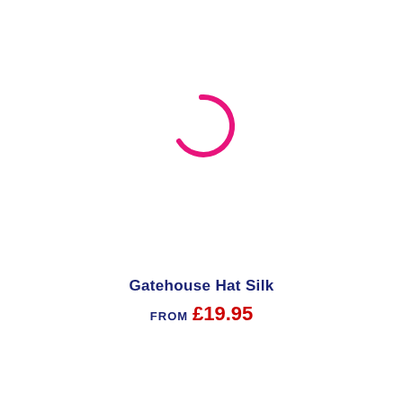[Figure (other): A pink/magenta loading spinner arc (partial circle, approximately 300 degrees), centered horizontally in the upper portion of the page.]
Gatehouse Hat Silk
FROM £19.95